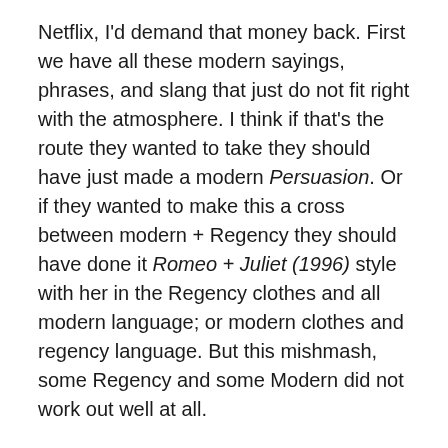Netflix, I'd demand that money back. First we have all these modern sayings, phrases, and slang that just do not fit right with the atmosphere. I think if that's the route they wanted to take they should have just made a modern Persuasion. Or if they wanted to make this a cross between modern + Regency they should have done it Romeo + Juliet (1996) style with her in the Regency clothes and all modern language; or modern clothes and regency language. But this mishmash, some Regency and some Modern did not work out well at all.
There is a lot of truly terrible dialogue but the biggest offenders to be was when Henrietta tells Anne that to win a guy she should pretend she didn't know how to use cutlery. Not only is that the dumbest thing I have ever heard, but now a whole generation are going to think that Jane Austen wrote that.